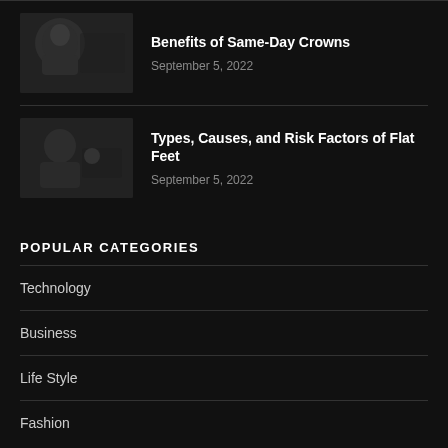[Figure (photo): Thumbnail image of a person smiling, dark toned photo]
Benefits of Same-Day Crowns
September 5, 2022
[Figure (photo): Thumbnail image of a person, dark toned photo]
Types, Causes, and Risk Factors of Flat Feet
September 5, 2022
POPULAR CATEGORIES
Technology
Business
Life Style
Fashion